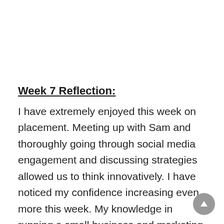Week 7 Reflection:
I have extremely enjoyed this week on placement. Meeting up with Sam and thoroughly going through social media engagement and discussing strategies allowed us to think innovatively. I have noticed my confidence increasing even more this week. My knowledge in running a small business and marketing strategies is expanding and I really value this experience. Reflecting on the skills I've learnt this